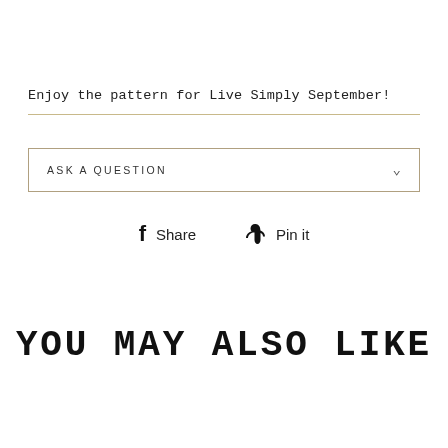Enjoy the pattern for Live Simply September!
ASK A QUESTION
Share   Pin it
YOU MAY ALSO LIKE